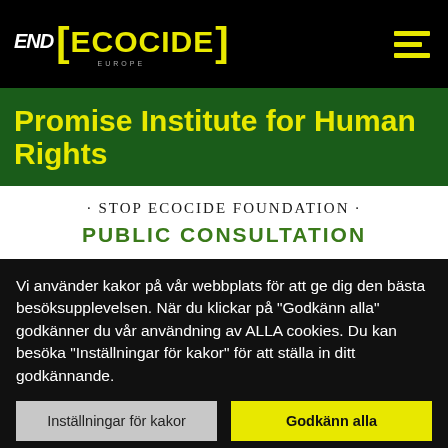END ECOCIDE
Promise Institute for Human Rights
· STOP ECOCIDE FOUNDATION · PUBLIC CONSULTATION
Vi använder kakor på vår webbplats för att ge dig den bästa besöksupplevelsen. När du klickar på "Godkänn alla" godkänner du vår användning av ALLA cookies. Du kan besöka "Inställningar för kakor" för att ställa in ditt godkännande.
Inställningar för kakor
Godkänn alla